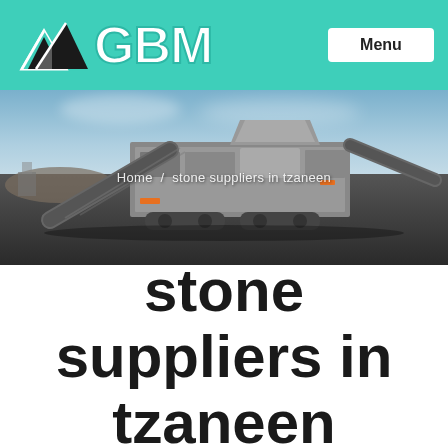GBM  Menu
[Figure (photo): Industrial stone crushing/screening machine with conveyor belt, parked on black coal/stone aggregate outdoors, blue sky background. Breadcrumb navigation overlaid: Home / stone suppliers in tzaneen]
stone suppliers in tzaneen